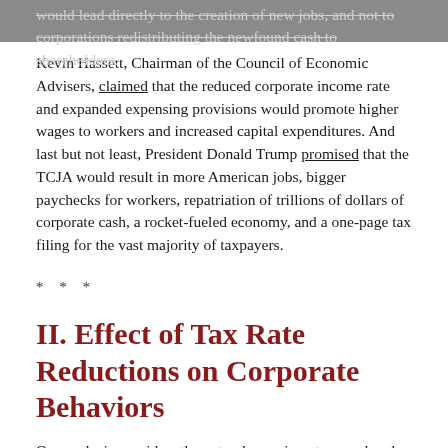would lead directly to the creation of new jobs, and not to corporations redistributing the newfound cash to shareholders.
Kevin Hassett, Chairman of the Council of Economic Advisers, claimed that the reduced corporate income rate and expanded expensing provisions would promote higher wages to workers and increased capital expenditures. And last but not least, President Donald Trump promised that the TCJA would result in more American jobs, bigger paychecks for workers, repatriation of trillions of dollars of corporate cash, a rocket-fueled economy, and a one-page tax filing for the vast majority of taxpayers.
* * *
II. Effect of Tax Rate Reductions on Corporate Behaviors
Our analysis considers the natural experiment engendered by